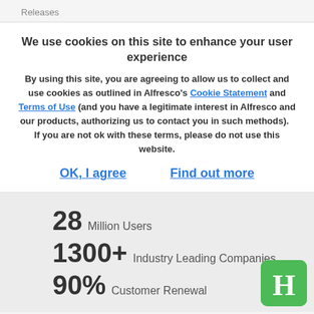Releases
We use cookies on this site to enhance your user experience
By using this site, you are agreeing to allow us to collect and use cookies as outlined in Alfresco's Cookie Statement and Terms of Use (and you have a legitimate interest in Alfresco and our products, authorizing us to contact you in such methods).   If you are not ok with these terms, please do not use this website.
OK, I agree    Find out more
28 Million Users
1300+ Industry Leading Companies
90% Customer Renewal